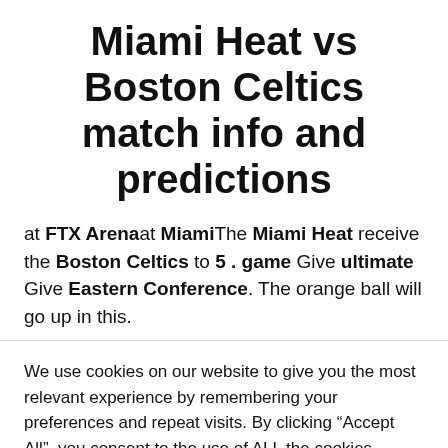Miami Heat vs Boston Celtics match info and predictions
at FTX Arena at Miami The Miami Heat receive the Boston Celtics to 5 . game Give ultimate Give Eastern Conference. The orange ball will go up in this.
We use cookies on our website to give you the most relevant experience by remembering your preferences and repeat visits. By clicking “Accept All”, you consent to the use of ALL the cookies. However, you may visit "Cookie Settings" to provide a controlled consent.